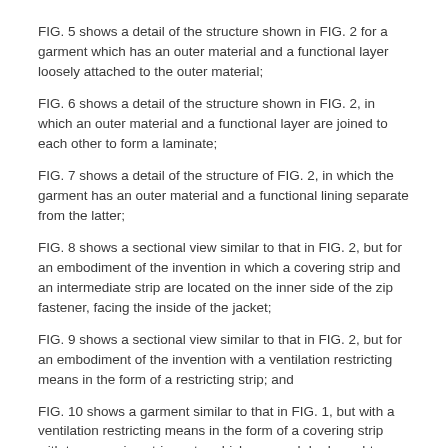FIG. 5 shows a detail of the structure shown in FIG. 2 for a garment which has an outer material and a functional layer loosely attached to the outer material;
FIG. 6 shows a detail of the structure shown in FIG. 2, in which an outer material and a functional layer are joined to each other to form a laminate;
FIG. 7 shows a detail of the structure of FIG. 2, in which the garment has an outer material and a functional lining separate from the latter;
FIG. 8 shows a sectional view similar to that in FIG. 2, but for an embodiment of the invention in which a covering strip and an intermediate strip are located on the inner side of the zip fastener, facing the inside of the jacket;
FIG. 9 shows a sectional view similar to that in FIG. 2, but for an embodiment of the invention with a ventilation restricting means in the form of a restricting strip; and
FIG. 10 shows a garment similar to that in FIG. 1, but with a ventilation restricting means in the form of a covering strip with two covering strip parts, which can each be brought independently of each other into a closed or open position and, in the closed position, each cover only a partial region of the ventilating material.